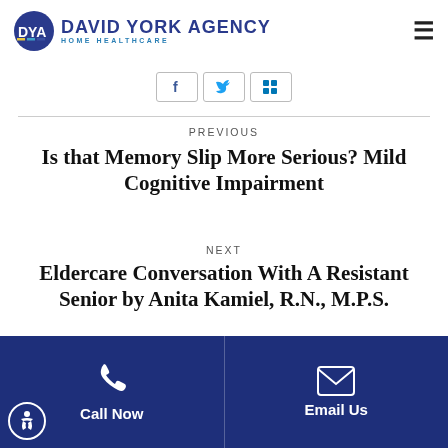DYA DAVID YORK AGENCY HOME HEALTHCARE
PREVIOUS
Is that Memory Slip More Serious? Mild Cognitive Impairment
NEXT
Eldercare Conversation With A Resistant Senior by Anita Kamiel, R.N., M.P.S.
Call Now  Email Us